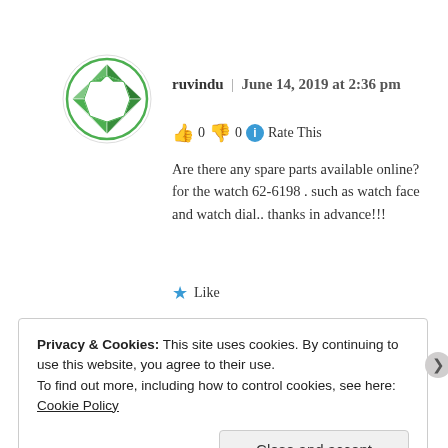[Figure (logo): Circular avatar logo with green diamond/gem pattern made of triangular facets on white background]
ruvindu | June 14, 2019 at 2:36 pm
👍 0 👎 0 ℹ Rate This
Are there any spare parts available online? for the watch 62-6198 . such as watch face and watch dial.. thanks in advance!!!
★ Like
Privacy & Cookies: This site uses cookies. By continuing to use this website, you agree to their use.
To find out more, including how to control cookies, see here: Cookie Policy
Close and accept